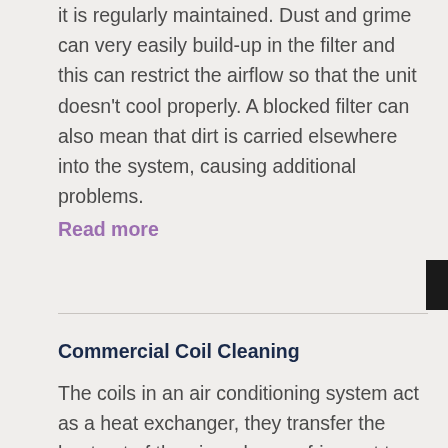it is regularly maintained. Dust and grime can very easily build-up in the filter and this can restrict the airflow so that the unit doesn't cool properly. A blocked filter can also mean that dirt is carried elsewhere into the system, causing additional problems.
Read more
Commercial Coil Cleaning
The coils in an air conditioning system act as a heat exchanger, they transfer the heat out of the air and use refrigerant to cool the air and pump it into a building. There is an evaporator coil and a condenser coil, and like most parts in an air conditioning unit, they are affected by the natural ingress of dirt and